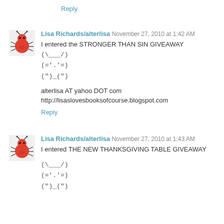Reply
Lisa Richards/alterlisa November 27, 2010 at 1:42 AM
I entered the STRONGER THAN SIN GIVEAWAY
(\___ /)
(='.'=)
(")_(")

alterlisa AT yahoo DOT com
http://lisaslovesbooksofcourse.blogspot.com
Reply
Lisa Richards/alterlisa November 27, 2010 at 1:43 AM
I entered THE NEW THANKSGIVING TABLE GIVEAWAY

(\___ /)
(='.'=)
(")_(")